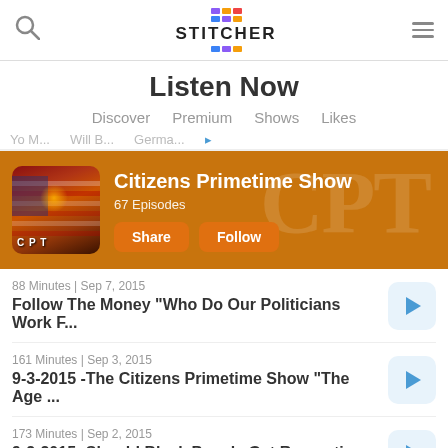Stitcher - Listen Now
Listen Now
Discover  Premium  Shows  Likes
[Figure (screenshot): Citizens Primetime Show banner on Stitcher app. Orange background with CPT letters. Podcast art shows American flag with CPT badge. Title: Citizens Primetime Show, 67 Episodes. Share and Follow buttons.]
88 Minutes | Sep 7, 2015
Follow The Money "Who Do Our Politicians Work F..."
161 Minutes | Sep 3, 2015
9-3-2015 -The Citizens Primetime Show "The Age ..."
173 Minutes | Sep 2, 2015
9-2-2015- Should Black People Get Reparations ?